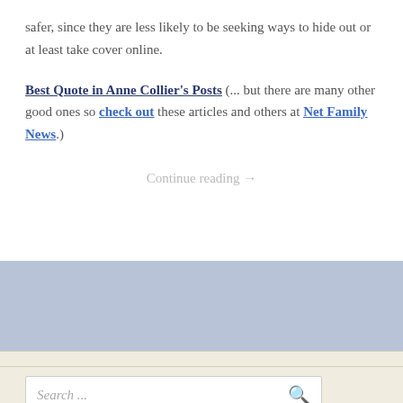safer, since they are less likely to be seeking ways to hide out or at least take cover online.
Best Quote in Anne Collier's Posts (... but there are many other good ones so check out these articles and others at Net Family News.)
Continue reading →